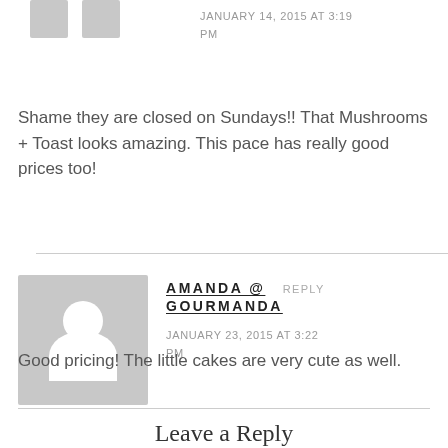JANUARY 14, 2015 AT 3:19 PM
Shame they are closed on Sundays!! That Mushrooms + Toast looks amazing. This pace has really good prices too!
[Figure (illustration): Gray avatar placeholder with white silhouette of person]
AMANDA @ GOURMANDA
REPLY
JANUARY 23, 2015 AT 3:22 PM
Good pricing! The little cakes are very cute as well.
Leave a Reply